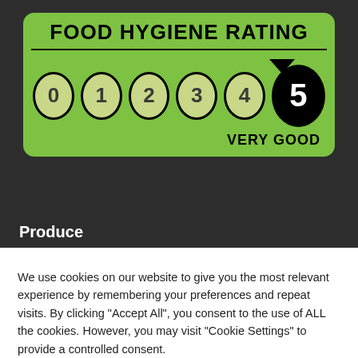[Figure (infographic): Food Hygiene Rating infographic showing a green card with rating scale from 0 to 5, with 5 highlighted as 'VERY GOOD' in a black circle]
Produce
We use cookies on our website to give you the most relevant experience by remembering your preferences and repeat visits. By clicking "Accept All", you consent to the use of ALL the cookies. However, you may visit "Cookie Settings" to provide a controlled consent.